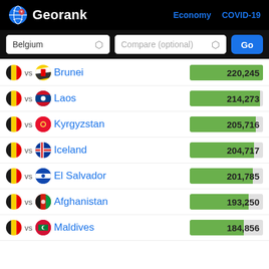Georank — Economy COVID-19
Belgium vs Compare (optional) Go
Belgium vs Brunei — 220,245
Belgium vs Laos — 214,273
Belgium vs Kyrgyzstan — 205,716
Belgium vs Iceland — 204,717
Belgium vs El Salvador — 201,785
Belgium vs Afghanistan — 193,250
Belgium vs Maldives — 184,856